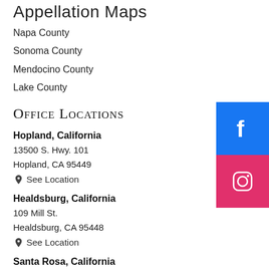Appellation Maps
Napa County
Sonoma County
Mendocino County
Lake County
Office Locations
Hopland, California
13500 S. Hwy. 101
Hopland, CA 95449
See Location
Healdsburg, California
109 Mill St.
Healdsburg, CA 95448
See Location
Santa Rosa, California
[Figure (logo): Facebook social media button (blue square with white f icon)]
[Figure (logo): Instagram social media button (pink/red square with white Instagram camera icon)]